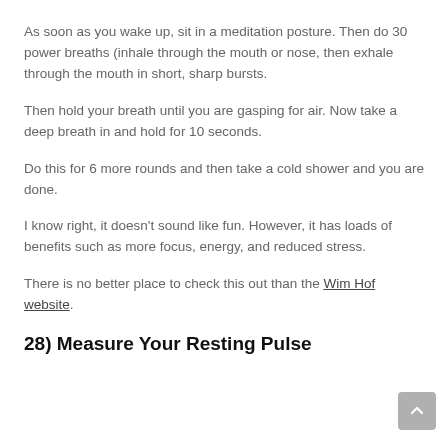As soon as you wake up, sit in a meditation posture. Then do 30 power breaths (inhale through the mouth or nose, then exhale through the mouth in short, sharp bursts.
Then hold your breath until you are gasping for air. Now take a deep breath in and hold for 10 seconds.
Do this for 6 more rounds and then take a cold shower and you are done.
I know right, it doesn't sound like fun. However, it has loads of benefits such as more focus, energy, and reduced stress.
There is no better place to check this out than the Wim Hof website.
28) Measure Your Resting Pulse